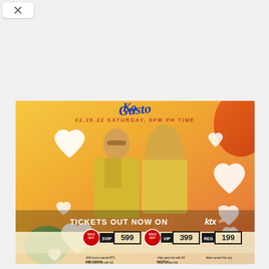[Figure (photo): Concert event promotional poster for KD and Alexa on 02.26.22 Saturday 8PM PH time, showing two performers dressed in yellow against an orange/yellow gradient background with white heart decorations. Ticket tiers shown: SVIP 599 (SOLD OUT), VIP 399 (SOLD OUT), REG 199. Tickets available on ktx.ph.]